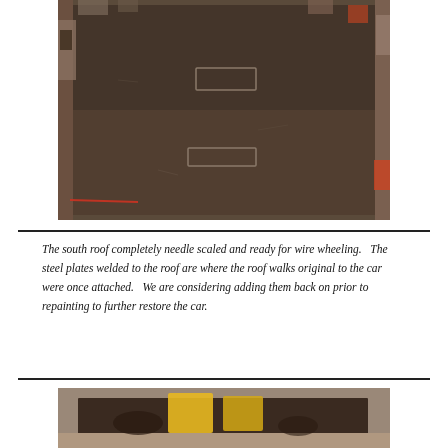[Figure (photo): Aerial/top-down view of a large dark metal roof panel that has been needle scaled and is ready for wire wheeling. Two rectangular steel plate outlines are visible on the surface. Workshop clutter is visible around the edges.]
The south roof completely needle scaled and ready for wire wheeling.   The steel plates welded to the roof are where the roof walks original to the car were once attached.   We are considering adding them back on prior to repainting to further restore the car.
[Figure (photo): Partial view of a second photo showing a roof panel with yellow equipment visible in a workshop setting, partially cut off at the bottom of the page.]